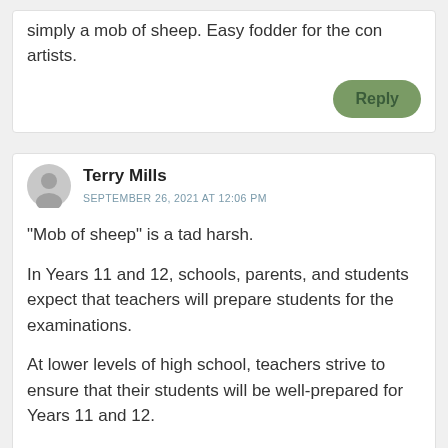simply a mob of sheep. Easy fodder for the con artists.
Reply
Terry Mills
SEPTEMBER 26, 2021 AT 12:06 PM
“Mob of sheep” is a tad harsh.
In Years 11 and 12, schools, parents, and students expect that teachers will prepare students for the examinations.
At lower levels of high school, teachers strive to ensure that their students will be well-prepared for Years 11 and 12.
It appears to me that VCE examinations